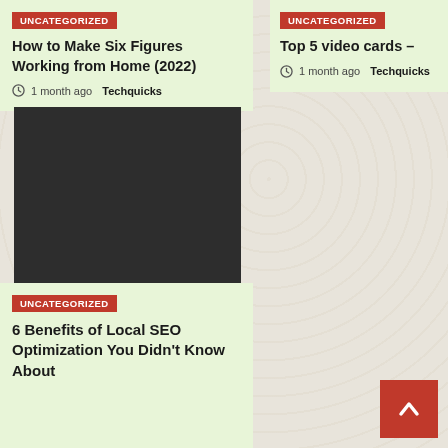UNCATEGORIZED
How to Make Six Figures Working from Home (2022)
1 month ago  Techquicks
UNCATEGORIZED
Top 5 video cards –
1 month ago  Techquicks
[Figure (photo): Black/dark image placeholder]
UNCATEGORIZED
6 Benefits of Local SEO Optimization You Didn't Know About